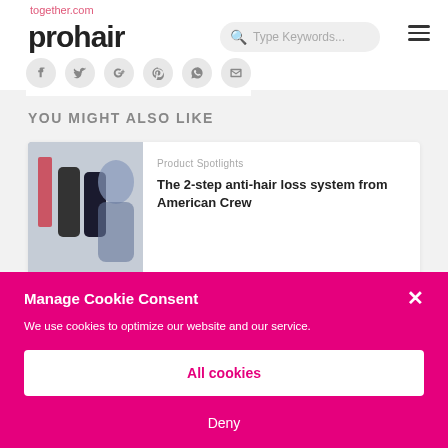together.com
prohair
Type Keywords...
YOU MIGHT ALSO LIKE
[Figure (photo): Product image for The 2-step anti-hair loss system from American Crew]
Product Spotlights
The 2-step anti-hair loss system from American Crew
Manage Cookie Consent
We use cookies to optimize our website and our service.
All cookies
Deny